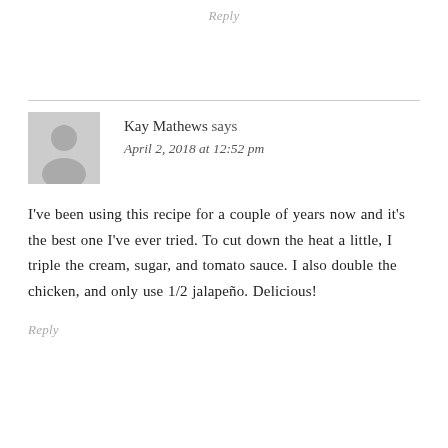Reply
Kay Mathews says
April 2, 2018 at 12:52 pm
I've been using this recipe for a couple of years now and it's the best one I've ever tried. To cut down the heat a little, I triple the cream, sugar, and tomato sauce. I also double the chicken, and only use 1/2 jalapeño. Delicious!
Reply